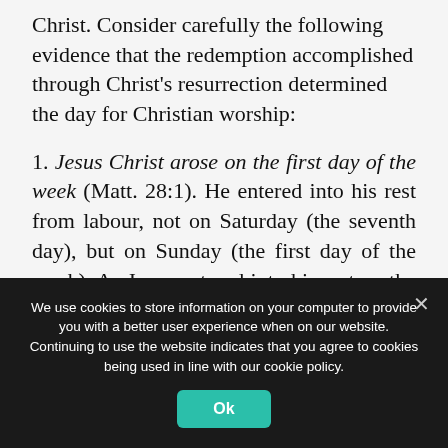Christ. Consider carefully the following evidence that the redemption accomplished through Christ's resurrection determined the day for Christian worship:
1. Jesus Christ arose on the first day of the week (Matt. 28:1). He entered into his rest from labour, not on Saturday (the seventh day), but on Sunday (the first day of the week). As Jesus entered into his rest on the first day, so he encourages us to begin the week by resting in the confidence that he will provide for all our needs for seven days with only six days of labour...
We use cookies to store information on your computer to provide you with a better user experience when on our website. Continuing to use the website indicates that you agree to cookies being used in line with our cookie policy.